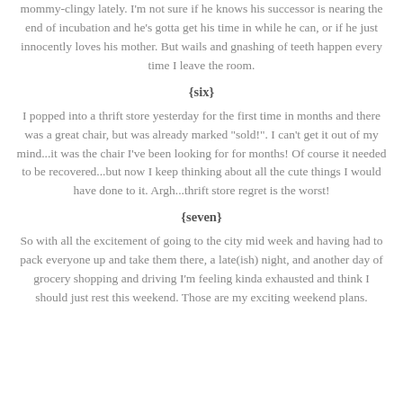mommy-clingy lately. I'm not sure if he knows his successor is nearing the end of incubation and he's gotta get his time in while he can, or if he just innocently loves his mother. But wails and gnashing of teeth happen every time I leave the room.
{six}
I popped into a thrift store yesterday for the first time in months and there was a great chair, but was already marked "sold!". I can't get it out of my mind...it was the chair I've been looking for for months! Of course it needed to be recovered...but now I keep thinking about all the cute things I would have done to it. Argh...thrift store regret is the worst!
{seven}
So with all the excitement of going to the city mid week and having had to pack everyone up and take them there, a late(ish) night, and another day of grocery shopping and driving I'm feeling kinda exhausted and think I should just rest this weekend. Those are my exciting weekend plans.